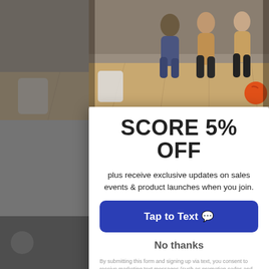[Figure (photo): People bowling at a bowling alley, captured mid-throw, with orange bowling ball visible]
SCORE 5% OFF
plus receive exclusive updates on sales events & product launches when you join.
Tap to Text 💬
No thanks
By submitting this form and signing up via text, you consent to receive marketing text messages (such as promotion codes and cart reminders) from BowlersMart.com at the number provided, including messages sent by autodialer. Consent is not a condition of any purchase. Message and data rates may apply. Message frequency varies. You can unsubscribe at any time by texting STOP or click the unsubscribe link (where available) in any message.